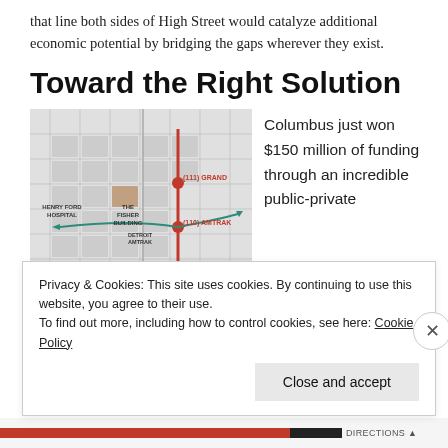that line both sides of High Street would catalyze additional economic potential by bridging the gaps wherever they exist.
Toward the Right Solution
[Figure (map): A map showing a transit route in Detroit with labeled stops including (111) Grand, (110) Amtrak, Amsterdam (Future), Henry Ford Hospital, The Fisher Building, and Detroit Amtrak station. A red vertical line marks the route and a teal arrow shows a directional path labeled NEW.]
Columbus just won $150 million of funding through an incredible public-private
Privacy & Cookies: This site uses cookies. By continuing to use this website, you agree to their use. To find out more, including how to control cookies, see here: Cookie Policy
Close and accept